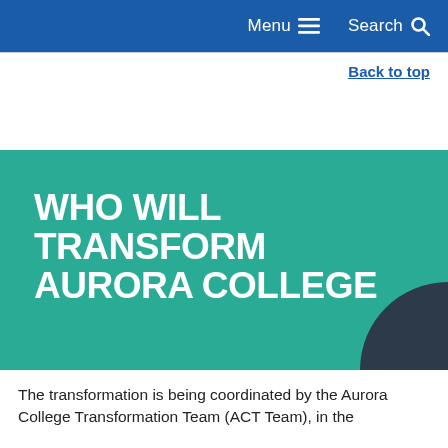Menu  Search
Back to top
[Figure (illustration): Teal banner graphic with bold white uppercase text reading 'WHO WILL TRANSFORM AURORA COLLEGE' and a dark navy rounded corner element at bottom right]
The transformation is being coordinated by the Aurora College Transformation Team (ACT Team), in the